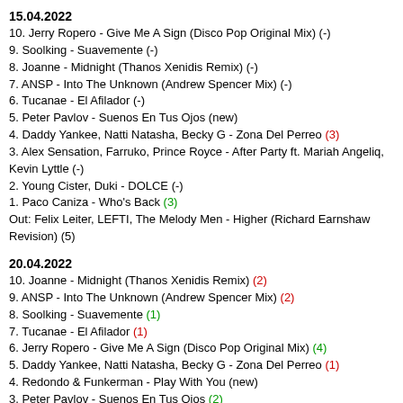15.04.2022
10. Jerry Ropero - Give Me A Sign (Disco Pop Original Mix) (-)
9. Soolking - Suavemente (-)
8. Joanne - Midnight (Thanos Xenidis Remix) (-)
7. ANSP - Into The Unknown (Andrew Spencer Mix) (-)
6. Tucanae - El Afilador (-)
5. Peter Pavlov - Suenos En Tus Ojos (new)
4. Daddy Yankee, Natti Natasha, Becky G - Zona Del Perreo (3)
3. Alex Sensation, Farruko, Prince Royce - After Party ft. Mariah Angeliq, Kevin Lyttle (-)
2. Young Cister, Duki - DOLCE (-)
1. Paco Caniza - Who's Back (3)
Out: Felix Leiter, LEFTI, The Melody Men - Higher (Richard Earnshaw Revision) (5)
20.04.2022
10. Joanne - Midnight (Thanos Xenidis Remix) (2)
9. ANSP - Into The Unknown (Andrew Spencer Mix) (2)
8. Soolking - Suavemente (1)
7. Tucanae - El Afilador (1)
6. Jerry Ropero - Give Me A Sign (Disco Pop Original Mix) (4)
5. Daddy Yankee, Natti Natasha, Becky G - Zona Del Perreo (1)
4. Redondo & Funkerman - Play With You (new)
3. Peter Pavlov - Suenos En Tus Ojos (2)
2. Young Cister, Duki - DOLCE (-)
1. Paco Caniza - Who's Back (-)
Out: Alex Sensation, Farruko, Prince Royce - After Party ft. Mariah Angeliq, Kevin Lyttle (3)
29.04.2022
10. Joanne - Midnight (Thanos Xenidis Remix) (-)